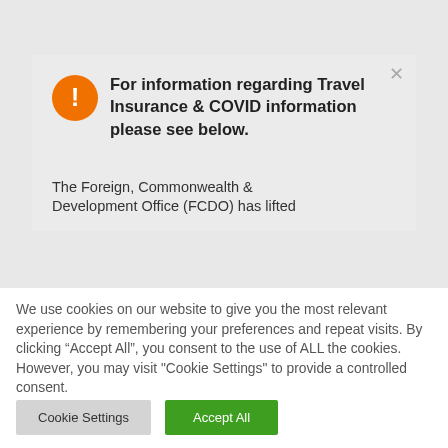[Figure (screenshot): Top black navigation bar (partially visible at top of page)]
For information regarding Travel Insurance & COVID information please see below.
The Foreign, Commonwealth & Development Office (FCDO) has lifted
We use cookies on our website to give you the most relevant experience by remembering your preferences and repeat visits. By clicking “Accept All”, you consent to the use of ALL the cookies. However, you may visit "Cookie Settings" to provide a controlled consent.
Cookie Settings
Accept All